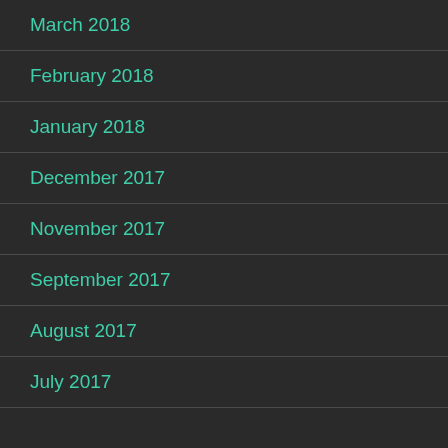March 2018
February 2018
January 2018
December 2017
November 2017
September 2017
August 2017
July 2017